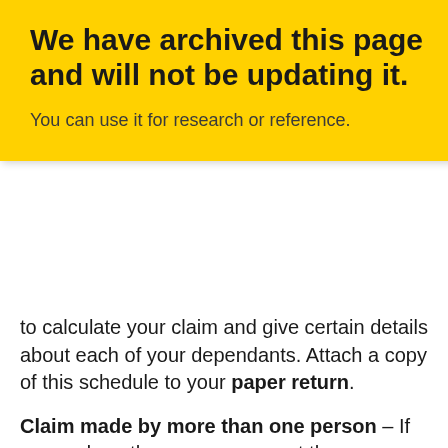We have archived this page and will not be updating it.
You can use it for research or reference.
to calculate your claim and give certain details about each of your dependants. Attach a copy of this schedule to your paper return.
Claim made by more than one person – If you and another person support the same